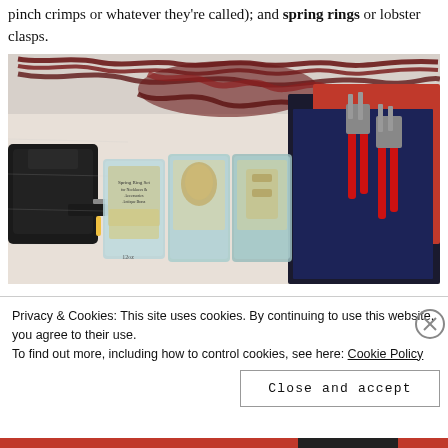pinch crimps or whatever they're called); and spring rings or lobster clasps.
[Figure (photo): Photo showing craft jewelry-making supplies: braided dark red/maroon rope/cord knotted at top, a hot glue gun on the left, three blister packs of spring ring clasps and chain in the center, dark red and navy blue felt fabric on the right, and two pairs of jewelry pliers with red handles on the right.]
Privacy & Cookies: This site uses cookies. By continuing to use this website, you agree to their use.
To find out more, including how to control cookies, see here: Cookie Policy
Close and accept